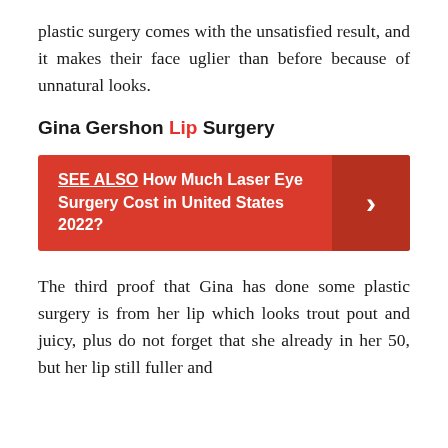plastic surgery comes with the unsatisfied result, and it makes their face uglier than before because of unnatural looks.
Gina Gershon Lip Surgery
[Figure (infographic): Red banner with 'SEE ALSO How Much Laser Eye Surgery Cost in United States 2022?' and a right-arrow chevron on a darker red panel on the right.]
The third proof that Gina has done some plastic surgery is from her lip which looks trout pout and juicy, plus do not forget that she already in her 50, but her lip still fuller and